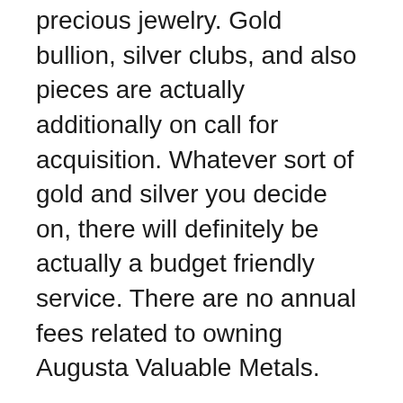precious jewelry. Gold bullion, silver clubs, and also pieces are actually additionally on call for acquisition. Whatever sort of gold and silver you decide on, there will definitely be actually a budget friendly service. There are no annual fees related to owning Augusta Valuable Metals.
Proofs: Evidence are one of the absolute most prominent items sold by Augusta Precious Metals. Evidence are actually needed for each of the finest gold companies. Verifications are additionally used for confirming platinum and palladium to retailers, as well as to purchasers who buy from online outlets. There are no annual expenses associated with having Augusta Precious Metals. Elements and the prices to all